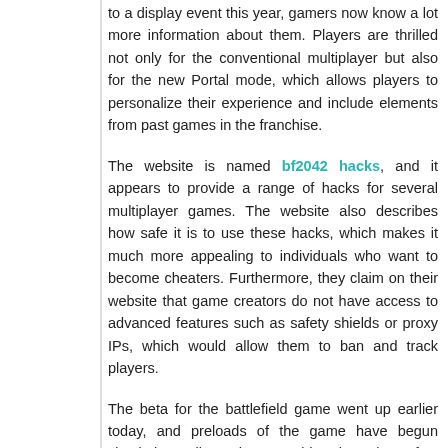to a display event this year, gamers now know a lot more information about them. Players are thrilled not only for the conventional multiplayer but also for the new Portal mode, which allows players to personalize their experience and include elements from past games in the franchise.
The website is named bf2042 hacks, and it appears to provide a range of hacks for several multiplayer games. The website also describes how safe it is to use these hacks, which makes it much more appealing to individuals who want to become cheaters. Furthermore, they claim on their website that game creators do not have access to advanced features such as safety shields or proxy IPs, which would allow them to ban and track players.
The beta for the battlefield game went up earlier today, and preloads of the game have begun circulating online. Cheat providers have been fast to go into the game's data and discover the most effective hacking methods. To end, it can be seen here how cheating is...